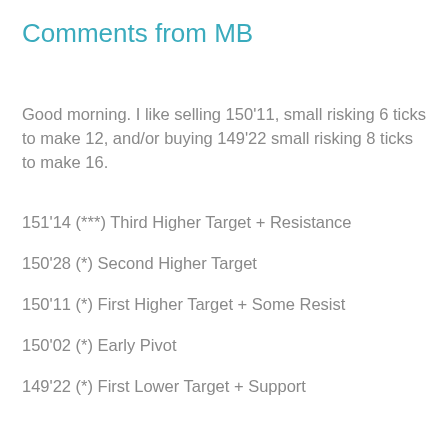Comments from MB
Good morning. I like selling 150'11, small risking 6 ticks to make 12, and/or buying 149'22 small risking 8 ticks to make 16.
151'14 (***) Third Higher Target + Resistance
150'28 (*) Second Higher Target
150'11 (*) First Higher Target + Some Resist
150'02 (*) Early Pivot
149'22 (*) First Lower Target + Support